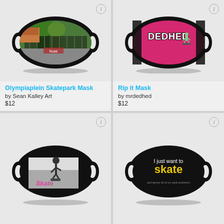[Figure (photo): Face mask with photo of Olympiaplein Skatepark — trees and fence visible]
Olympiaplein Skatepark Mask
by Sean Kalley Art
$12
[Figure (photo): Face mask with pink/magenta background and 'DEDHED' graffiti logo with skater graphic]
Rip it Mask
by mrdedhed
$12
[Figure (photo): Black face mask with black-and-white photo of skater doing trick, with 'Skate' graffiti in pink/green]
[Figure (photo): Black face mask with text 'I just want to skate' in yellow on black, smaller text below]